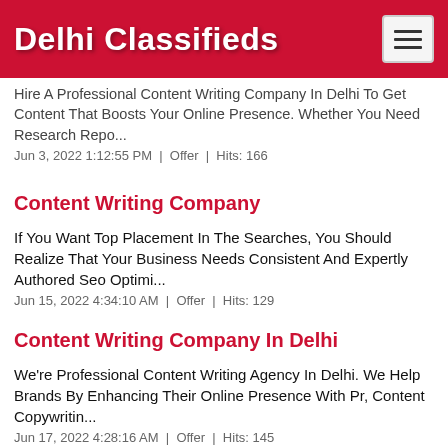Delhi Classifieds
Hire A Professional Content Writing Company In Delhi To Get Content That Boosts Your Online Presence. Whether You Need Research Repo...
Jun 3, 2022 1:12:55 PM  |  Offer  |  Hits: 166
Content Writing Company
If You Want Top Placement In The Searches, You Should Realize That Your Business Needs Consistent And Expertly Authored Seo Optimi...
Jun 15, 2022 4:34:10 AM  |  Offer  |  Hits: 129
Content Writing Company In Delhi
We're Professional Content Writing Agency In Delhi. We Help Brands By Enhancing Their Online Presence With Pr, Content Copywritin...
Jun 17, 2022 4:28:16 AM  |  Offer  |  Hits: 145
Outsource Content Writing
If You're Unsure Whether Or Not It Would Be Beneficial To Outsource Content Writing For Your Company, These Reasons Will Help You ...
Jul 12, 2022 11:28:56 AM  |  Offer  |  Hits: 93